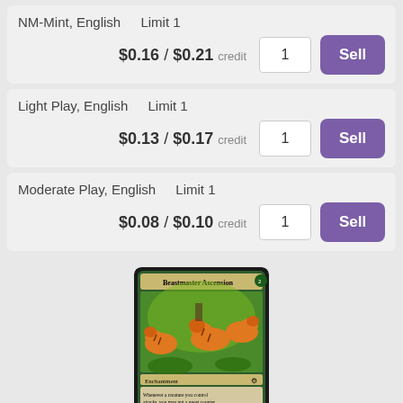NM-Mint, English    Limit 1
$0.16 / $0.21 credit    [1]    Sell
Light Play, English    Limit 1
$0.13 / $0.17 credit    [1]    Sell
Moderate Play, English    Limit 1
$0.08 / $0.10 credit    [1]    Sell
[Figure (photo): Magic: The Gathering card 'Beastmaster Ascension' showing tigers attacking, green enchantment card with quest counter text]